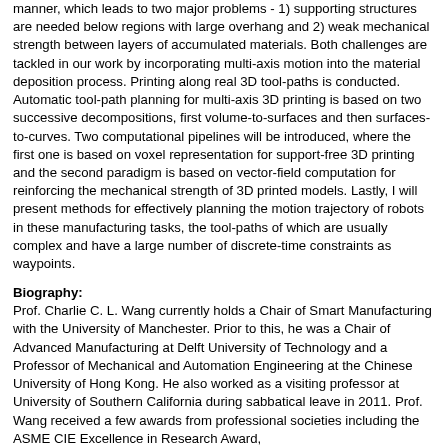manner, which leads to two major problems - 1) supporting structures are needed below regions with large overhang and 2) weak mechanical strength between layers of accumulated materials. Both challenges are tackled in our work by incorporating multi-axis motion into the material deposition process. Printing along real 3D tool-paths is conducted. Automatic tool-path planning for multi-axis 3D printing is based on two successive decompositions, first volume-to-surfaces and then surfaces-to-curves. Two computational pipelines will be introduced, where the first one is based on voxel representation for support-free 3D printing and the second paradigm is based on vector-field computation for reinforcing the mechanical strength of 3D printed models. Lastly, I will present methods for effectively planning the motion trajectory of robots in these manufacturing tasks, the tool-paths of which are usually complex and have a large number of discrete-time constraints as waypoints.
Biography:
Prof. Charlie C. L. Wang currently holds a Chair of Smart Manufacturing with the University of Manchester. Prior to this, he was a Chair of Advanced Manufacturing at Delft University of Technology and a Professor of Mechanical and Automation Engineering at the Chinese University of Hong Kong. He also worked as a visiting professor at University of Southern California during sabbatical leave in 2011. Prof. Wang received a few awards from professional societies including the ASME CIE Excellence in Research Award,